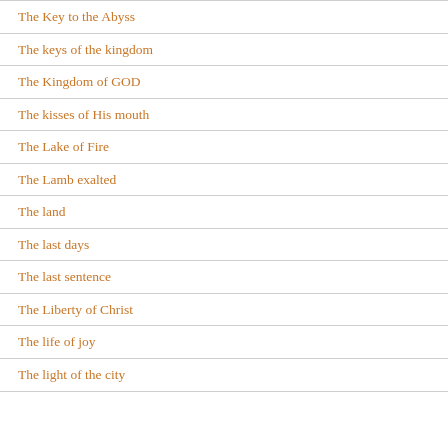The Key to the Abyss
The keys of the kingdom
The Kingdom of GOD
The kisses of His mouth
The Lake of Fire
The Lamb exalted
The land
The last days
The last sentence
The Liberty of Christ
The life of joy
The light of the city